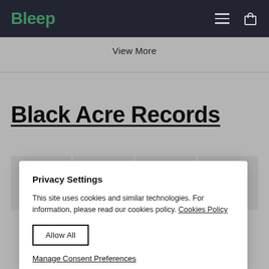Bleep
View More
Black Acre Records
[Figure (other): Four grey album thumbnail placeholders in a horizontal row]
Privacy Settings

This site uses cookies and similar technologies. For information, please read our cookies policy. Cookies Policy

Allow All

Manage Consent Preferences